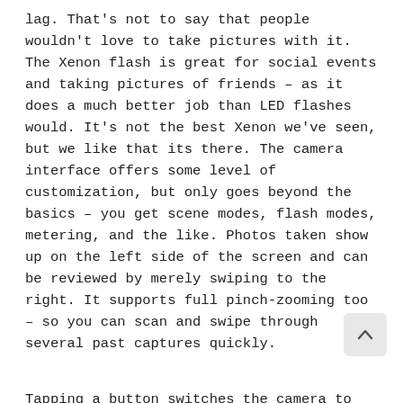lag. That's not to say that people wouldn't love to take pictures with it. The Xenon flash is great for social events and taking pictures of friends – as it does a much better job than LED flashes would. It's not the best Xenon we've seen, but we like that its there. The camera interface offers some level of customization, but only goes beyond the basics – you get scene modes, flash modes, metering, and the like. Photos taken show up on the left side of the screen and can be reviewed by merely swiping to the right. It supports full pinch-zooming too – so you can scan and swipe through several past captures quickly.
Tapping a button switches the camera to video mode. The Mozart can take up to 720p video at 25fps – and it even has continuous autofocus while recording. The video interface though, is a lot more simple and only offers minimal customization. Plus, every time you exit the app, the settings revert to SD video – you must always